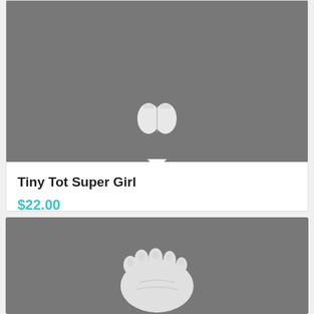[Figure (photo): Close-up photo of a white ceramic figurine feet/legs from above on gray background, top product card image]
Tiny Tot Super Girl
$22.00
Add to cart
Show Details
[Figure (photo): Close-up photo of a white ceramic baby feet/toes figurine on gray background, bottom product card image]